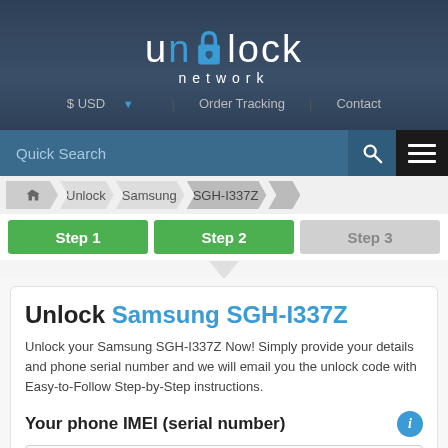[Figure (logo): Unlock Network logo with padlock icon on dark blue/slate gradient header]
$ USD ▼  |  Order Tracking  |  Contact
Quick Search
Unlock  >  Samsung  >  SGH-I337Z
Step 1  Step 2  Step 3
Unlock Samsung SGH-I337Z
Unlock your Samsung SGH-I337Z Now! Simply provide your details and phone serial number and we will email you the unlock code with Easy-to-Follow Step-by-Step instructions.
Your phone IMEI (serial number)
Phone IMEI number